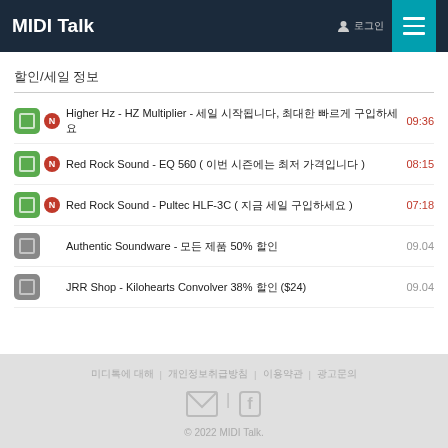MIDI Talk
할인/세일 정보
Higher Hz - HZ Multiplier - 세일 시작됩니다, 최대한 빠르게 구입하세요  09:36
Red Rock Sound - EQ 560 ( 이번 시즌에는 최저 가격입니다 )  08:15
Red Rock Sound - Pultec HLF-3C ( 지금 세일 구입하세요 )  07:18
Authentic Soundware - 모든 제품 50% 할인  09.04
JRR Shop - Kilohearts Convolver 38% 할인 ($24)  09.04
© 2022 MIDI Talk.